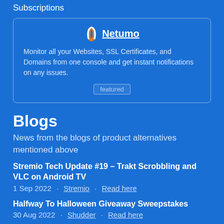Subscriptions
[Figure (other): Netumo featured product box with logo, description, and 'featured' badge. Text: 'Monitor all your Websites, SSL Certificates, and Domains from one console and get instant notifications on any issues.']
Blogs
News from the blogs of product alternatives mentioned above
Stremio Tech Update #19 – Trakt Scrobbling and VLC on Android TV
1 Sep 2022 · Stremio · Read here
Halfway To Halloween Giveaway Sweepstakes
30 Aug 2022 · Shudder · Read here
Houston Astros: MLB Schedule, Rivalries, Tickets, and More